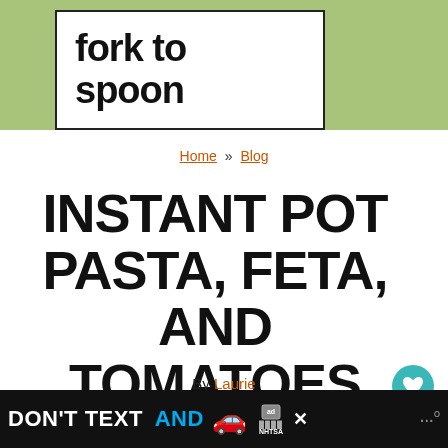[Figure (logo): Fork to Spoon logo: bold black text on white background with black border, set against sage green background bar]
Home » Blog
INSTANT POT PASTA, FETA, AND TOMATOES
By Laurie
[Figure (other): Advertisement banner: DON'T TEXT AND [car emoji] NHTSA ad on black background]